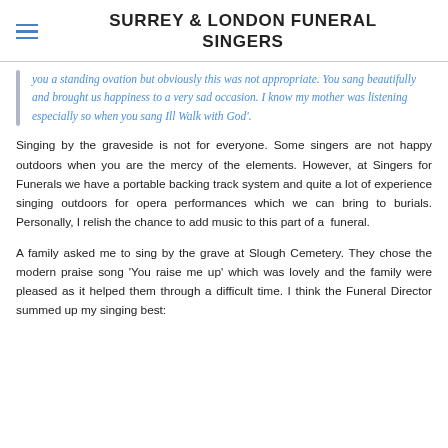SURREY & LONDON FUNERAL SINGERS
you a standing ovation but obviously this was not appropriate. You sang beautifully and brought us happiness to a very sad occasion. I know my mother was listening especially so when you sang Ill Walk with God'.
Singing by the graveside is not for everyone. Some singers are not happy outdoors when you are the mercy of the elements. However, at Singers for Funerals we have a portable backing track system and quite a lot of experience singing outdoors for opera performances which we can bring to burials. Personally, I relish the chance to add music to this part of a funeral.
A family asked me to sing by the grave at Slough Cemetery. They chose the modern praise song 'You raise me up' which was lovely and the family were pleased as it helped them through a difficult time. I think the Funeral Director summed up my singing best: